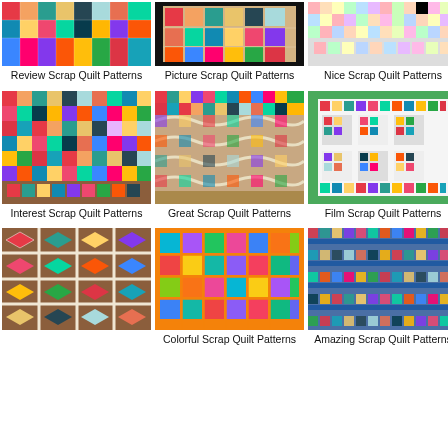[Figure (photo): Colorful scrap quilt laid out, top row partial view]
Review Scrap Quilt Patterns
[Figure (photo): Colorful scrap quilt with dark border, top row partial view]
Picture Scrap Quilt Patterns
[Figure (photo): Colorful scrap quilt, pastel tones, top row partial view]
Nice Scrap Quilt Patterns
[Figure (photo): Colorful scrap quilt laid on floor, many fabrics]
Interest Scrap Quilt Patterns
[Figure (photo): Colorful scrap quilt with wavy quilting pattern]
Great Scrap Quilt Patterns
[Figure (photo): White background quilt with colorful square blocks on grass]
Film Scrap Quilt Patterns
[Figure (photo): Geometric scrap quilt with diamond pattern on wood floor]
[Figure (photo): Colorful scrap quilt with orange accent fabric]
Colorful Scrap Quilt Patterns
[Figure (photo): Colorful scrap quilt with blue sashing strips]
Amazing Scrap Quilt Patterns